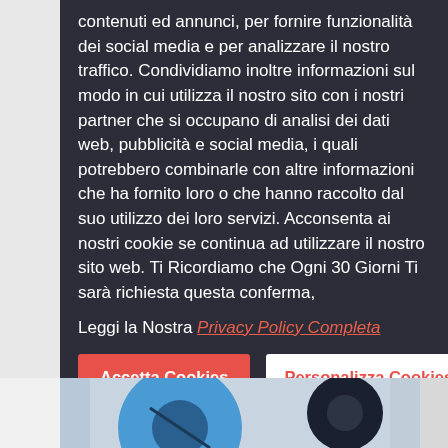contenuti ed annunci, per fornire funzionalità dei social media e per analizzare il nostro traffico. Condividiamo inoltre informazioni sul modo in cui utilizza il nostro sito con i nostri partner che si occupano di analisi dei dati web, pubblicità e social media, i quali potrebbero combinarle con altre informazioni che ha fornito loro o che hanno raccolto dal suo utilizzo dei loro servizi. Acconsenta ai nostri cookie se continua ad utilizzare il nostro sito web. Ti Ricordiamo che Ogni 30 Giorni Ti sarà richiesta questa conferma,
Leggi la Nostra Privacy Policy Completa
Accetta Cookies
Personalizza Cookies
Dichiarazione Cookie aggiornata l'ultima volta il 23/05/2018
[Figure (photo): Bottom strip showing a partial photo with blue circular object and dark element on light background]